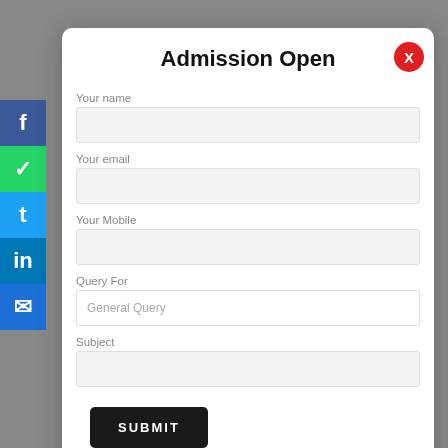Admission Open
Your name
Your email
Your Mobile
Query For
General Query
Subject
SUBMIT